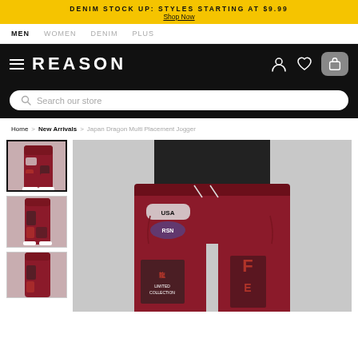DENIM STOCK UP: STYLES STARTING AT $9.99 Shop Now
MEN WOMEN DENIM PLUS
REASON
Search our store
Home > New Arrivals > Japan Dragon Multi Placement Jogger
[Figure (photo): Three product thumbnails of Japan Dragon Multi Placement Jogger and one large main product image showing a model wearing dark burgundy jogger pants with Japan dragon graphic prints]
Japan Dragon Multi Placement Jogger